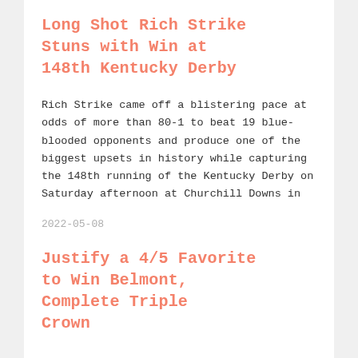Long Shot Rich Strike Stuns with Win at 148th Kentucky Derby
Rich Strike came off a blistering pace at odds of more than 80-1 to beat 19 blue-blooded opponents and produce one of the biggest upsets in history while capturing the 148th running of the Kentucky Derby on Saturday afternoon at Churchill Downs in
2022-05-08
Justify a 4/5 Favorite to Win Belmont, Complete Triple Crown